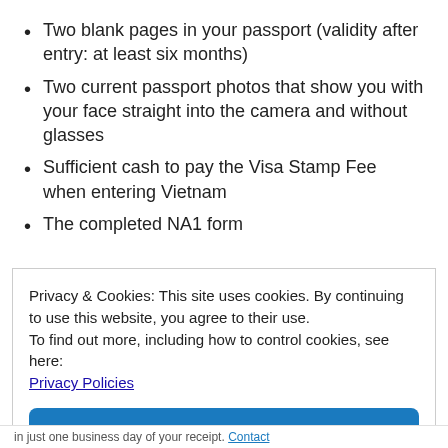Two blank pages in your passport (validity after entry: at least six months)
Two current passport photos that show you with your face straight into the camera and without glasses
Sufficient cash to pay the Visa Stamp Fee when entering Vietnam
The completed NA1 form
Privacy & Cookies: This site uses cookies. By continuing to use this website, you agree to their use.
To find out more, including how to control cookies, see here: Privacy Policies
Accept
in just one business day of your receipt. Contact